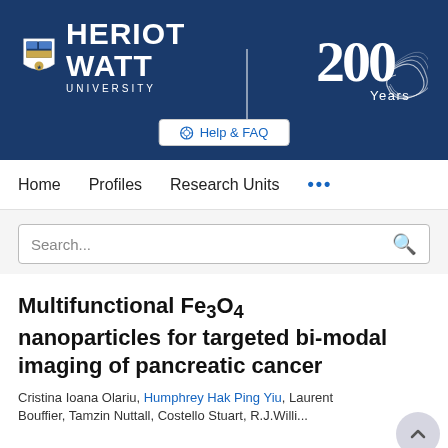[Figure (logo): Heriot-Watt University logo with shield emblem, university name, vertical divider, and '200 Years' anniversary mark on dark blue background, with Help & FAQ button below]
Home   Profiles   Research Units   ...
Search...
Multifunctional Fe3O4 nanoparticles for targeted bi-modal imaging of pancreatic cancer
Cristina Ioana Olariu, Humphrey Hak Ping Yiu, Laurent Bouffier, Tamzin Nuttall, Costello Stuart, R.J. Willi...